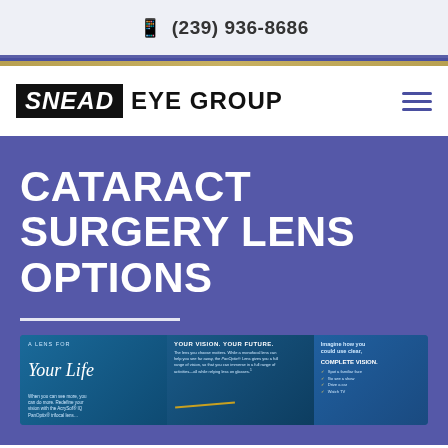(239) 936-8686
[Figure (logo): Snead Eye Group logo with hamburger menu icon]
CATARACT SURGERY LENS OPTIONS
[Figure (infographic): PanOptix lens brochure showing 'A Lens For Your Life' with YOUR VISION. YOUR FUTURE. and COMPLETE VISION text sections]